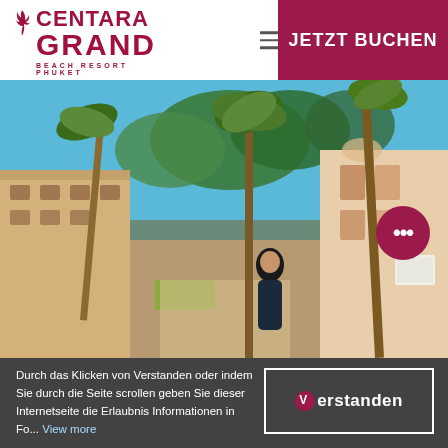[Figure (logo): Centara Grand Beach Resort Phuket logo in dark red/crimson with flame icon]
JETZT BUCHEN
[Figure (photo): Outdoor photo of a woman standing and smiling in the courtyard of the Centara Grand Beach Resort Phuket, surrounded by tall palm trees, hotel buildings, and lush greenery under a blue sky]
Durch das Klicken von Verstanden oder indem Sie durch die Seite scrollen geben Sie dieser Internetseite die Erlaubnis Informationen in Fo... View more
[Figure (other): Verstanden (Understood) cookie consent button in a white-bordered box]